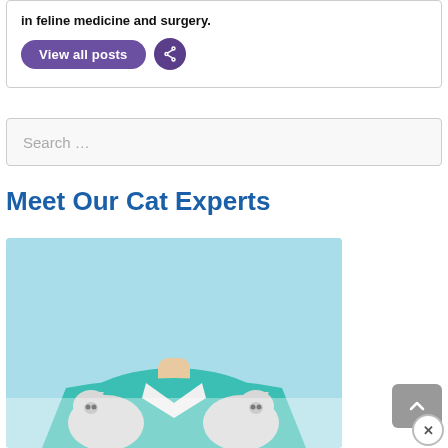in feline medicine and surgery.
View all posts
Search …
Meet Our Cat Experts
[Figure (photo): A woman in a teal jacket holding two small white/grey kittens against a light blue background.]